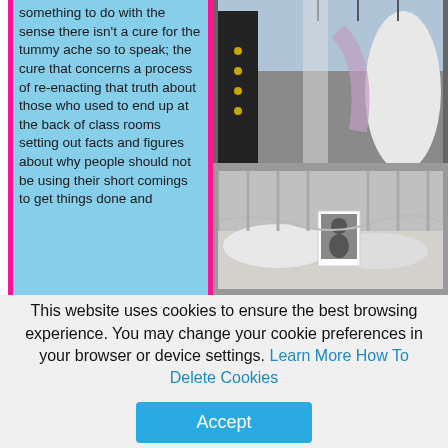something to do with the sense there isn't a cure for the tummy ache so to speak; the cure that concerns a process of re-enacting that truth about those who used to end up at the back of class rooms setting out facts and figures about why people should not be using their short comings to get things done and
[Figure (photo): Top: fashion/wedding dresses on hangers outdoors with people in background. Bottom: retail display with photos and fabric items.]
This website uses cookies to ensure the best browsing experience. You may change your cookie preferences in your browser or device settings. Learn More How To Delete Cookies